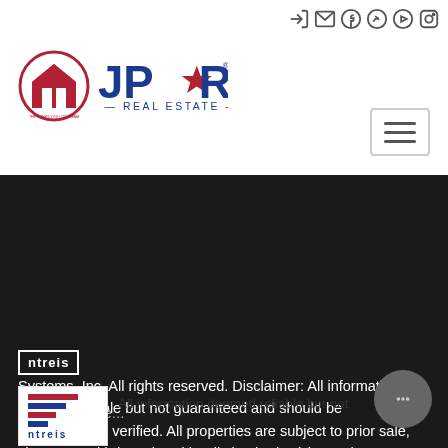[Figure (logo): Header with NTREIS/JPAR Real Estate logo and social media icons]
ntreis
Systems, Inc. All rights reserved. Disclaimer: All information deemed reliable but not guaranteed and should be independently verified. All properties are subject to prior sale, change or withdrawal. Neither listing broker(s) nor The Homes You Love Team shall be responsible for any typographical errors, misinformation, misprints and shall be held totally harmless. The database information herein is provided from and copyrighted by the North Texas Real
Show More...
[Figure (logo): NTREIS logo - small version in footer]
All information deemed reliable but not